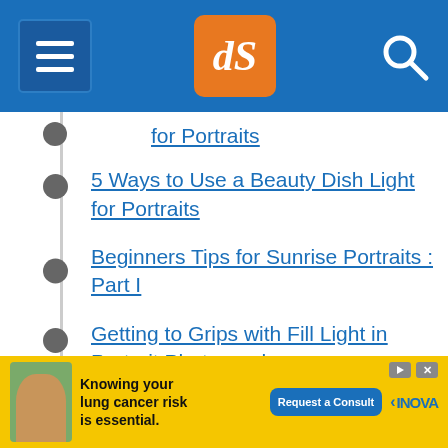dPS (digital Photography school) header with menu, logo, and search
for Portraits
5 Ways to Use a Beauty Dish Light for Portraits
Beginners Tips for Sunrise Portraits : Part I
Getting to Grips with Fill Light in Portrait Photography
How to Use Flash for Night Portraits
What Size Beauty Dish is Right For Your Portrait Photography?
How to Create Catch Lights in Your Natural Light Portraits
[Figure (screenshot): Advertisement banner: Knowing your lung cancer risk is essential. Request a Consult - INOVA]
Knowing your lung cancer risk is essential. Request a Consult | INOVA